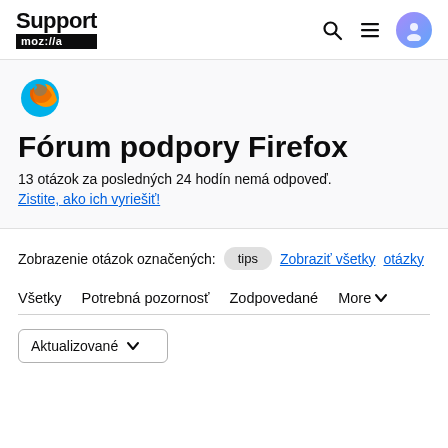Support mozilla///a
[Figure (logo): Firefox browser logo icon - flame and globe]
Fórum podpory Firefox
13 otázok za posledných 24 hodín nemá odpoveď.
Zistite, ako ich vyriešiť!
Zobrazenie otázok označených: tips   Zobraziť všetky otázky
Všetky  Potrebná pozornosť  Zodpovedané  More
Aktualizované